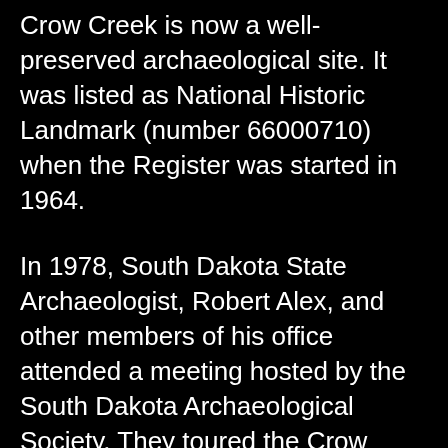Crow Creek is now a well-preserved archaeological site. It was listed as National Historic Landmark (number 66000710) when the Register was started in 1964.
In 1978, South Dakota State Archaeologist, Robert Alex, and other members of his office attended a meeting hosted by the South Dakota Archaeological Society. They toured the Crow Creek site, which had been known and had some professional excavation in the 1950s. They discovered human bones eroding from the end of the fortification ditch. After permission to excavate the site was received from the reservation tribal council, following consultation about how to proceed and agreement for reburial of remains on site, archeology teams recovered the skeletal remains of at least 486 Crow Creek villagers. The remaining text continues below.